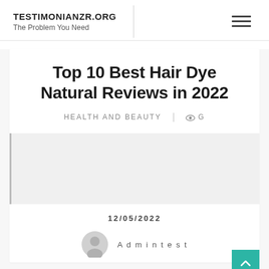TESTIMONIANZR.ORG — The Problem You Need
Top 10 Best Hair Dye Natural Reviews in 2022
Health And Beauty  |  9
[Figure (photo): Image placeholder area with left border]
12/05/2022
Admintest